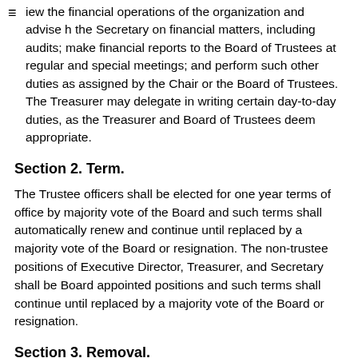iew the financial operations of the organization and advise h the Secretary on financial matters, including audits; make financial reports to the Board of Trustees at regular and special meetings; and perform such other duties as assigned by the Chair or the Board of Trustees. The Treasurer may delegate in writing certain day-to-day duties, as the Treasurer and Board of Trustees deem appropriate.
Section 2. Term.
The Trustee officers shall be elected for one year terms of office by majority vote of the Board and such terms shall automatically renew and continue until replaced by a majority vote of the Board or resignation. The non-trustee positions of Executive Director, Treasurer, and Secretary shall be Board appointed positions and such terms shall continue until replaced by a majority vote of the Board or resignation.
Section 3. Removal.
Any officer or agent elected or appointed by the Board of Trustees may be removed by the Board of Trustees whenever, in